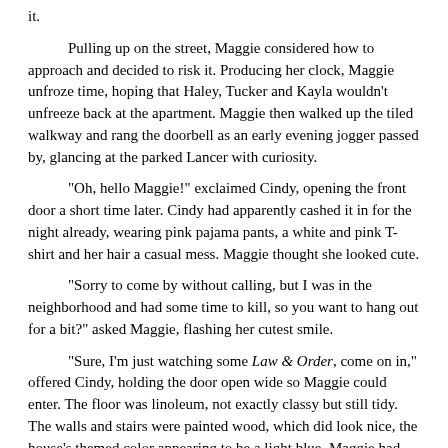it.
Pulling up on the street, Maggie considered how to approach and decided to risk it. Producing her clock, Maggie unfroze time, hoping that Haley, Tucker and Kayla wouldn't unfreeze back at the apartment. Maggie then walked up the tiled walkway and rang the doorbell as an early evening jogger passed by, glancing at the parked Lancer with curiosity.
"Oh, hello Maggie!" exclaimed Cindy, opening the front door a short time later. Cindy had apparently cashed it in for the night already, wearing pink pajama pants, a white and pink T-shirt and her hair a casual mess. Maggie thought she looked cute.
"Sorry to come by without calling, but I was in the neighborhood and had some time to kill, so you want to hang out for a bit?" asked Maggie, flashing her cutest smile.
"Sure, I'm just watching some Law & Order, come on in," offered Cindy, holding the door open wide so Maggie could enter. The floor was linoleum, not exactly classy but still tidy. The walls and stairs were painted wood, which did look nice, the house's themed color appearing to be a light blue. Maggie had never been inside Cindy's place, just seen her get dropped off a few times when they'd split a cab since Cindy didn't drive much.